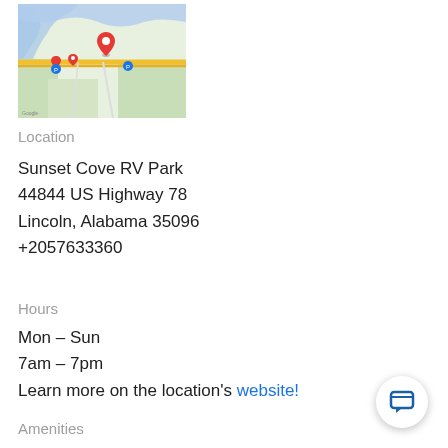[Figure (map): Google Maps screenshot showing location of Sunset Cove RV Park near Lincoln, Alabama on US Highway 78, with a red pin marker]
Location
Sunset Cove RV Park
44844 US Highway 78
Lincoln, Alabama 35096
+2057633360
Hours
Mon – Sun
7am – 7pm
Learn more on the location's website!
Amenities